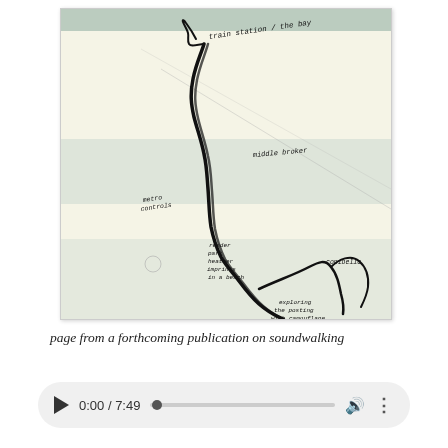[Figure (illustration): Hand-drawn sketch map of a soundwalk route on yellowish paper. The route is a thick black wandering line going from upper left (labeled 'train station / the bay') down through the middle (labeled 'middle broker', 'metro controls') and lower portion (labeled 'render park heather imprints in a beach', 'conibelle') to the lower right area (labeled 'exploring the posting with camouflage looking', 'Fort de Gravend under ground crusade'). Background shows faint diagonal pencil lines suggesting landscape or terrain.]
page from a forthcoming publication on soundwalking
[Figure (other): Audio player UI element showing play button, time display '0:00 / 7:49', progress bar, volume icon, and more options icon.]